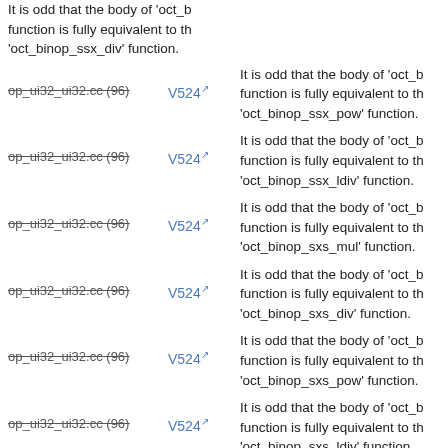op_ui32_ui32.cc (96) | V524 | It is odd that the body of 'oct_b function is fully equivalent to the 'oct_binop_ssx_div' function.
op_ui32_ui32.cc (96) | V524 | It is odd that the body of 'oct_b function is fully equivalent to the 'oct_binop_ssx_pow' function.
op_ui32_ui32.cc (96) | V524 | It is odd that the body of 'oct_b function is fully equivalent to the 'oct_binop_ssx_ldiv' function.
op_ui32_ui32.cc (96) | V524 | It is odd that the body of 'oct_b function is fully equivalent to the 'oct_binop_sxs_mul' function.
op_ui32_ui32.cc (96) | V524 | It is odd that the body of 'oct_b function is fully equivalent to the 'oct_binop_sxs_div' function.
op_ui32_ui32.cc (96) | V524 | It is odd that the body of 'oct_b function is fully equivalent to the 'oct_binop_sxs_pow' function.
op_ui32_ui32.cc (96) | V524 | It is odd that the body of 'oct_b function is fully equivalent to the 'oct_binop_sxs_ldiv' function.
op_ui32_ui32.cc (96) | V524 | It is odd that the body of 'oct_binop_ssfx_el_mul' function is equivalent to the body of 'oct_b function.